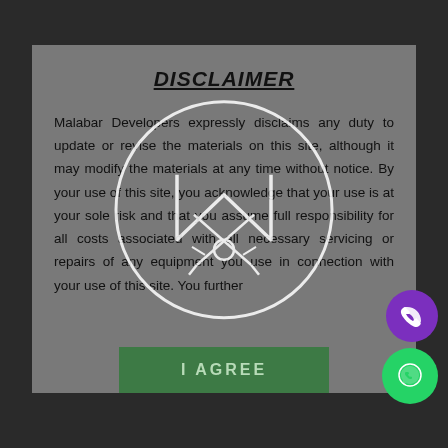DISCLAIMER
Malabar Developers expressly disclaims any duty to update or revise the materials on this site, although it may modify the materials at any time without notice. By your use of this site, you acknowledge that your use is at your sole risk and that you assume full responsibility for all costs associated with all necessary servicing or repairs of any equipment you use in connection with your use of this site. You further
[Figure (logo): Circular logo watermark with letter M and crossed swords/tools beneath, white outline on semi-transparent background]
I AGREE